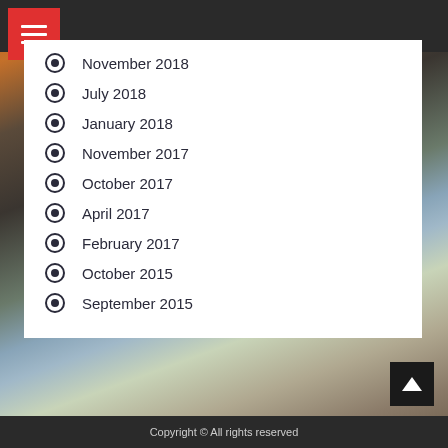November 2018
July 2018
January 2018
November 2017
October 2017
April 2017
February 2017
October 2015
September 2015
Copyright © All rights reserved